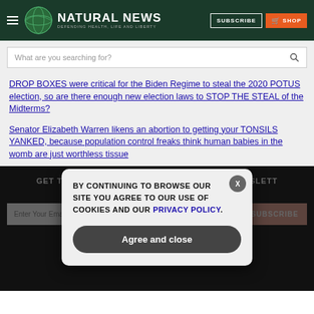NATURAL NEWS — DEFENDING HEALTH, LIFE AND LIBERTY
What are you searching for?
DROP BOXES were critical for the Biden Regime to steal the 2020 POTUS election, so are there enough new election laws to STOP THE STEAL of the Midterms?
Senator Elizabeth Warren likens an abortion to getting your TONSILS YANKED, because population control freaks think human babies in the womb are just worthless tissue
GET THE WORLD'S BEST NATURAL HEALTH NEWSLETTER DELIVERED STRAIGHT TO YOUR INBOX
BY CONTINUING TO BROWSE OUR SITE YOU AGREE TO OUR USE OF COOKIES AND OUR PRIVACY POLICY.
Agree and close